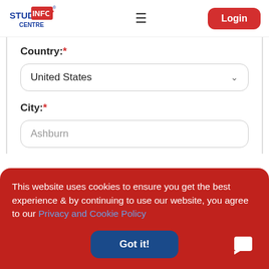[Figure (logo): Study Info Centre logo with stylized text and flag graphic]
Country:*
United States
City:*
Ashburn
This website uses cookies to ensure you get the best experience & by continuing to use our website, you agree to our Privacy and Cookie Policy
Got it!